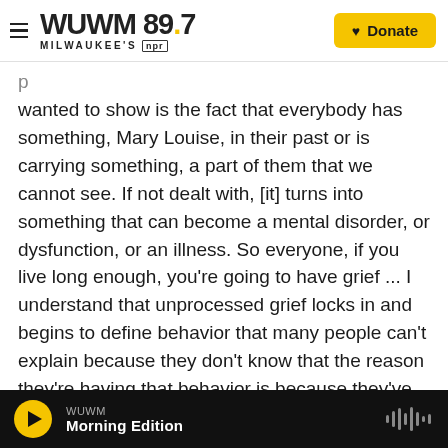WUWM 89.7 Milwaukee's NPR — Donate
wanted to show is the fact that everybody has something, Mary Louise, in their past or is carrying something, a part of them that we cannot see. If not dealt with, [it] turns into something that can become a mental disorder, or dysfunction, or an illness. So everyone, if you live long enough, you're going to have grief ... I understand that unprocessed grief locks in and begins to define behavior that many people can't explain because they don't know that the reason they're having that behavior is because they've never processed the grief. So that's why we wanted to emphasize that
WUWM Morning Edition